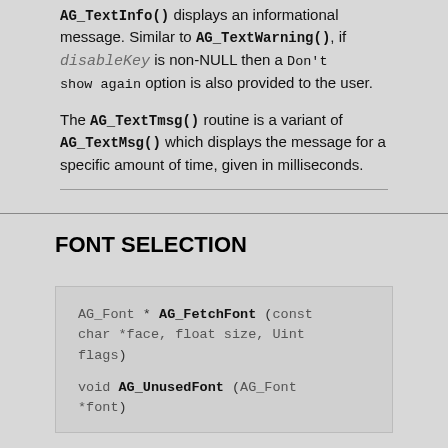AG_TextInfo() displays an informational message. Similar to AG_TextWarning(), if disableKey is non-NULL then a Don't show again option is also provided to the user.
The AG_TextTmsg() routine is a variant of AG_TextMsg() which displays the message for a specific amount of time, given in milliseconds.
FONT SELECTION
AG_Font * AG_FetchFont (const char *face, float size, Uint flags)

void AG_UnusedFont (AG_Font *font)